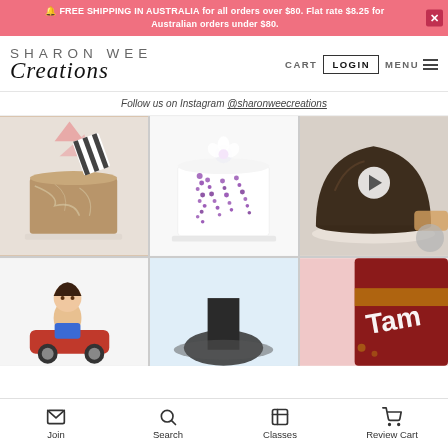FREE SHIPPING IN AUSTRALIA for all orders over $80. Flat rate $8.25 for Australian orders under $80.
[Figure (logo): Sharon Wee Creations logo with SHARON WEE in spaced sans-serif and Creations in script]
CART   LOGIN   MENU
Follow us on Instagram @sharonweecreations
[Figure (photo): Marble-effect cylindrical cake with geometric pink and black-striped topper]
[Figure (photo): White cylindrical cake with purple wisteria floral decoration and white flower on top]
[Figure (photo): Dark chocolate dome-shaped cake being worked on, with play button overlay]
[Figure (photo): Sugar paste figurine of a child on a red toy car]
[Figure (photo): Partial view of a cake or dessert on a light blue background]
[Figure (photo): Partial view showing Tim Tam biscuit packaging]
Join   Search   Classes   Review Cart